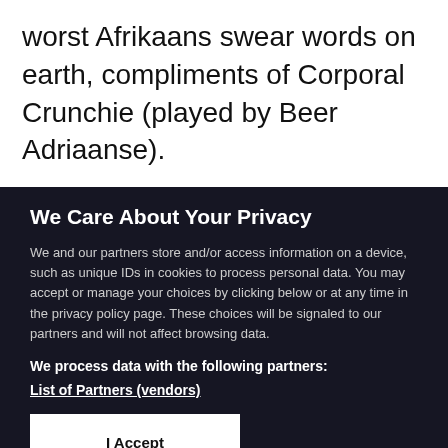worst Afrikaans swear words on earth, compliments of Corporal Crunchie (played by Beer Adriaanse).
We Care About Your Privacy
We and our partners store and/or access information on a device, such as unique IDs in cookies to process personal data. You may accept or manage your choices by clicking below or at any time in the privacy policy page. These choices will be signaled to our partners and will not affect browsing data.
We process data with the following partners:
List of Partners (vendors)
I Accept
Manage Cookies